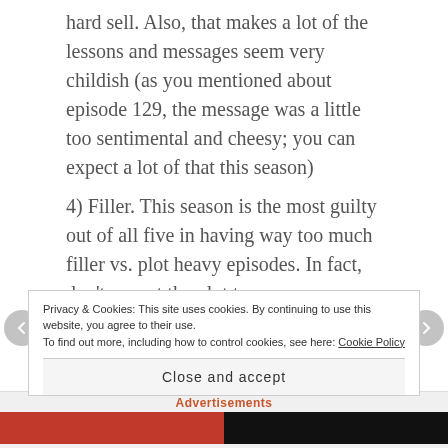hard sell. Also, that makes a lot of the lessons and messages seem very childish (as you mentioned about episode 129, the message was a little too sentimental and cheesy; you can expect a lot of that this season)
4) Filler. This season is the most guilty out of all five in having way too much filler vs. plot heavy episodes. In fact, don't expect the plot to move very much at all until near the end of the season.
5) Following S; If you ask Sailor Moon fans which season is the best, I'm willing to bet that it will be split about 60/40 between S and Stars. Well, SuperS
Privacy & Cookies: This site uses cookies. By continuing to use this website, you agree to their use.
To find out more, including how to control cookies, see here: Cookie Policy
Close and accept
Advertisements